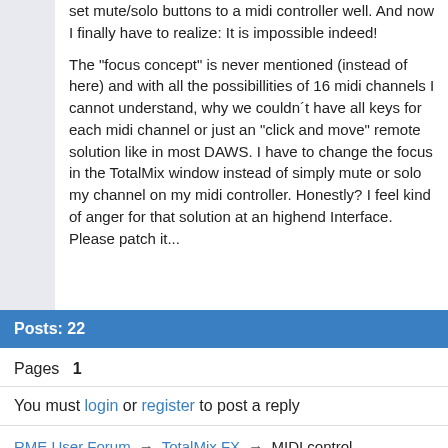set mute/solo buttons to a midi controller well. And now I finally have to realize: It is impossible indeed!

The "focus concept" is never mentioned (instead of here) and with all the possibillities of 16 midi channels I cannot understand, why we couldn´t have all keys for each midi channel or just an "click and move" remote solution like in most DAWS. I have to change the focus in the TotalMix window instead of simply mute or solo my channel on my midi controller. Honestly? I feel kind of anger for that solution at an highend Interface. Please patch it...
Posts: 22
Pages  1
You must login or register to post a reply
RME User Forum → TotalMix FX → MIDI control